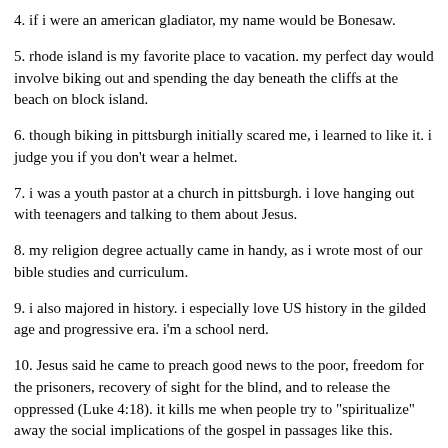4. if i were an american gladiator, my name would be Bonesaw.
5. rhode island is my favorite place to vacation. my perfect day would involve biking out and spending the day beneath the cliffs at the beach on block island.
6. though biking in pittsburgh initially scared me, i learned to like it. i judge you if you don't wear a helmet.
7. i was a youth pastor at a church in pittsburgh. i love hanging out with teenagers and talking to them about Jesus.
8. my religion degree actually came in handy, as i wrote most of our bible studies and curriculum.
9. i also majored in history. i especially love US history in the gilded age and progressive era. i'm a school nerd.
10. Jesus said he came to preach good news to the poor, freedom for the prisoners, recovery of sight for the blind, and to release the oppressed (Luke 4:18). it kills me when people try to "spiritualize" away the social implications of the gospel in passages like this.